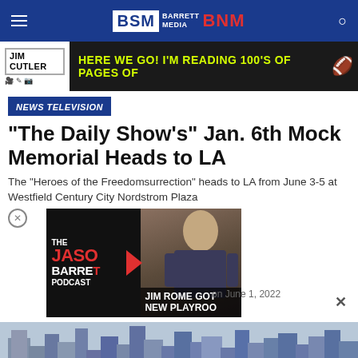BSM BARRETT MEDIA BNM
[Figure (screenshot): Jim Cutler ad banner with yellow text 'HERE WE GO! I'M READING 100'S OF PAGES OF' and a football emoji on dark background]
NEWS TELEVISION
“The Daily Show’s” Jan. 6th Mock Memorial Heads to LA
The “Heroes of the Freedomsurrection” heads to LA from June 3-5 at Westfield Century City Nordstrom Plaza
[Figure (screenshot): Video thumbnail showing 'The Jason Barrett Podcast' on left side with red text, and a man in a suit on right side with overlay text 'JIM ROME GOT NEW PLAYBOOK']
on June 1, 2022
[Figure (photo): Cityscape photo showing tall buildings/skyscrapers against a blue sky]